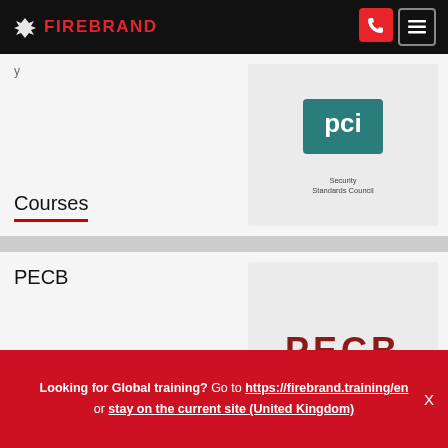[Figure (logo): Firebrand Training logo in white and red on black header bar]
Courses
[Figure (logo): PCI Security Standards Council logo - teal diamond shape with PCI text]
PECB
[Figure (logo): PECB logo in dark red text]
Looking for Global training? Go to https://firebrand.training/en or stay on the current site (United Kingdom)